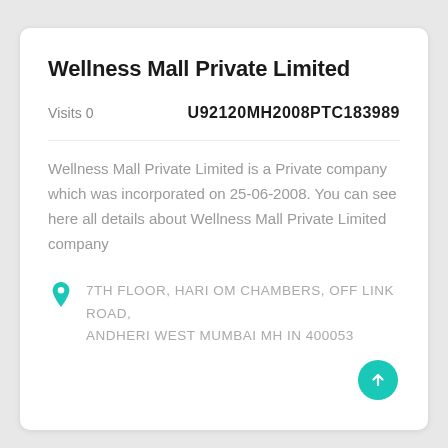Wellness Mall Private Limited
Visits 0
U92120MH2008PTC183989
Wellness Mall Private Limited is a Private company which was incorporated on 25-06-2008. You can see here all details about Wellness Mall Private Limited company
7TH FLOOR, HARI OM CHAMBERS, OFF LINK ROAD, ANDHERI WEST MUMBAI MH IN 400053